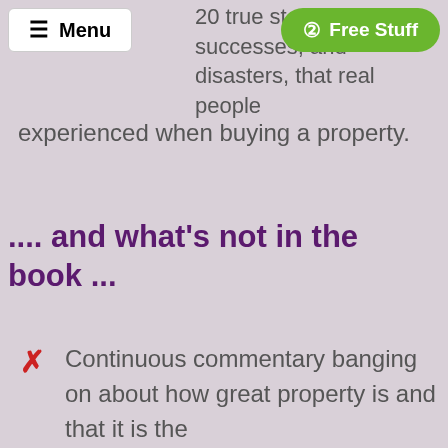Menu | Free Stuff
20 true stories of successes, and disasters, that real people experienced when buying a property.
.... and what's not in the book ...
Continuous commentary banging on about how great property is and that it is the